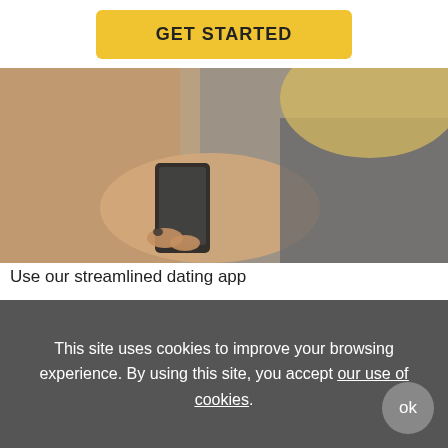GET STARTED
[Figure (photo): Woman with blonde hair holding a smartphone, wearing a grey jacket, blurred background]
Use our streamlined dating app
Are you a busy man, wondering how to get a girlfriend while also juggling friends, family, and a thriving career? EliteSingles is here to help. Our fully optimized site is designed with busy singles in
This site uses cookies to improve your browsing experience. By using this site, you accept our use of cookies.